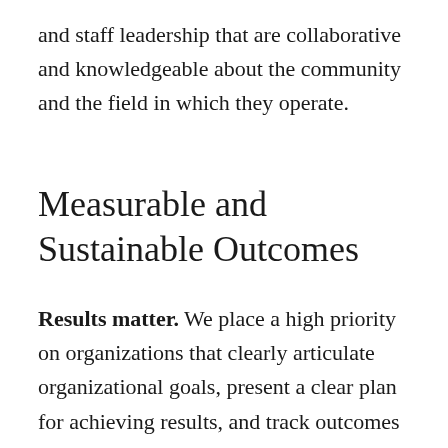and staff leadership that are collaborative and knowledgeable about the community and the field in which they operate.
Measurable and Sustainable Outcomes
Results matter. We place a high priority on organizations that clearly articulate organizational goals, present a clear plan for achieving results, and track outcomes and impacts with specific metrics on the